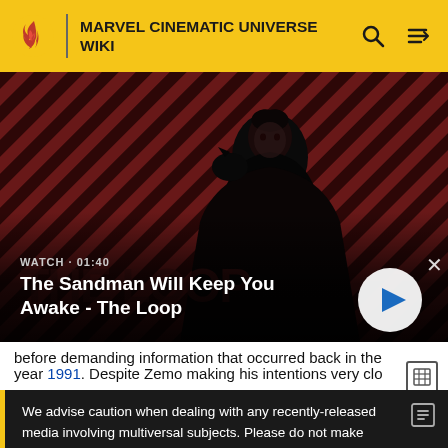MARVEL CINEMATIC UNIVERSE WIKI
[Figure (screenshot): Video thumbnail showing a dark-cloaked figure with a raven, against a red and black diagonal striped background. The Loop logo is visible. WATCH · 01:40 label with video title overlay.]
The Sandman Will Keep You Awake - The Loop
before demanding information that occurred back in the year 1991. Despite Zemo making his intentions very clo
We advise caution when dealing with any recently-released media involving multiversal subjects. Please do not make assumptions regarding confusing wording, other sites' speculation, and people's headcanon around the internet.